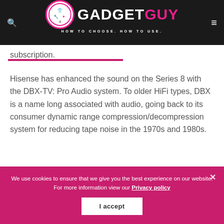GADGET GUY — HOW TO CHOOSE. HOW TO USE.
subscription.
Hisense has enhanced the sound on the Series 8 with the DBX-TV: Pro Audio system. To older HiFi types, DBX is a name long associated with audio, going back to its consumer dynamic range compression/decompression system for reducing tape noise in the 1970s and 1980s.
We use cookies to ensure that we give you the best experience on our website. For more information view our Privacy policy
I accept